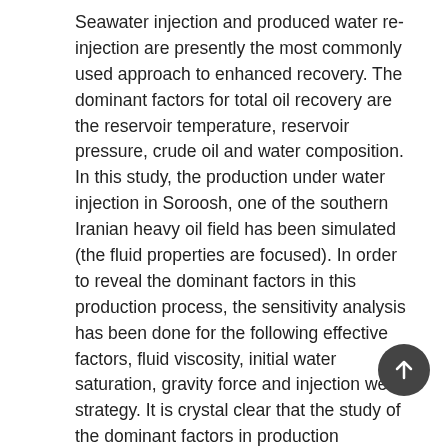Seawater injection and produced water re-injection are presently the most commonly used approach to enhanced recovery. The dominant factors for total oil recovery are the reservoir temperature, reservoir pressure, crude oil and water composition. In this study, the production under water injection in Soroosh, one of the southern Iranian heavy oil field has been simulated (the fluid properties are focused). In order to reveal the dominant factors in this production process, the sensitivity analysis has been done for the following effective factors, fluid viscosity, initial water saturation, gravity force and injection well strategy. It is crystal clear that the study of the dominant factors in production processes will help the engineers to design the best production mechanisms in our numerous hydrocarbon reservoirs.
Keywords: water injection, initial water saturation, oil viscosity, gravity force, injection well strategy